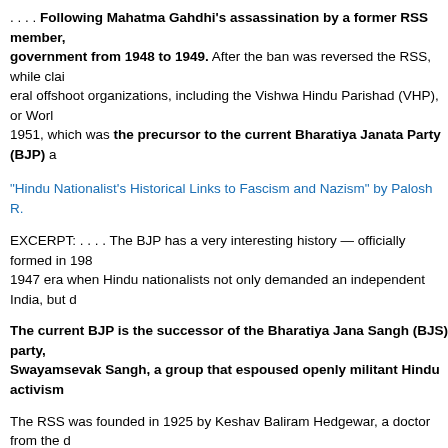. . . . Following Mahatma Gahdhi's assassination by a former RSS member, government from 1948 to 1949. After the ban was reversed the RSS, while claiming offshoot organizations, including the Vishwa Hindu Parishad (VHP), or World Hindu Council, in 1951, which was the precursor to the current Bharatiya Janata Party (BJP) a
“Hindu Nationalist's Historical Links to Fascism and Nazism” by Palosh R.
EXCERPT: . . . . The BJP has a very interesting history — officially formed in 198 1947 era when Hindu nationalists not only demanded an independent India, but d
The current BJP is the successor of the Bharatiya Jana Sangh (BJS) party, Swayamsevak Sangh, a group that espoused openly militant Hindu activism
The RSS was founded in 1925 by Keshav Baliram Hedgewar, a doctor from the for both independence from the British crown and the strict segregation of Hindu
What may surprise many in the West is that some of the most prominent fig two totalitarian movements that swept through Europe at the time.
As such, RSS was outlawed by the British (and was even periodically banned by ram Godse, the man who assassinated Gandhi in 1948, was himself a forme many generous concessions to the Muslims.
In the decades prior to that momentous event, senior RSS members had di Hitler in Germany. Part of the RSS' fascination with these totalitarian regim however, it went far beyond that. The RSS (as well as multitudes of other H